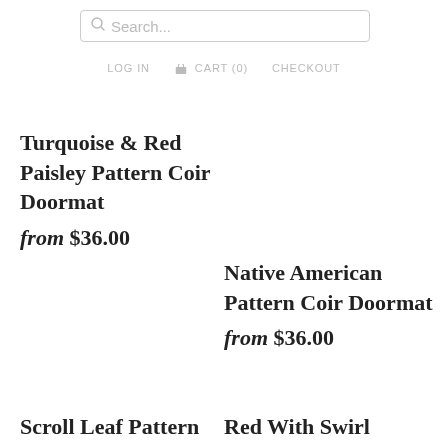Search...
LOG IN   CART (0)   CHECKOUT
Turquoise & Red Paisley Pattern Coir Doormat
from $36.00
Native American Pattern Coir Doormat
from $36.00
Scroll Leaf Pattern
Red With Swirl